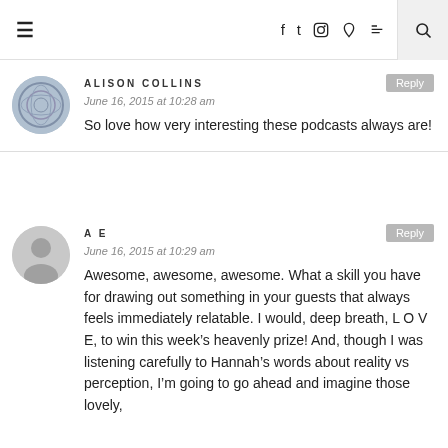Navigation bar with hamburger menu, social icons (Facebook, Twitter, Instagram, Pinterest, RSS), and search
ALISON COLLINS
June 16, 2015 at 10:28 am
So love how very interesting these podcasts always are!
AE
June 16, 2015 at 10:29 am
Awesome, awesome, awesome. What a skill you have for drawing out something in your guests that always feels immediately relatable. I would, deep breath, L O V E, to win this week's heavenly prize! And, though I was listening carefully to Hannah's words about reality vs perception, I'm going to go ahead and imagine those lovely,